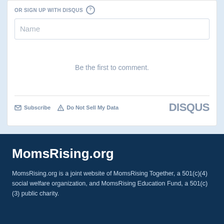OR SIGN UP WITH DISQUS ?
Name
Be the first to comment.
Subscribe   Do Not Sell My Data   DISQUS
MomsRising.org
MomsRising.org is a joint website of MomsRising Together, a 501(c)(4) social welfare organization, and MomsRising Education Fund, a 501(c)(3) public charity.